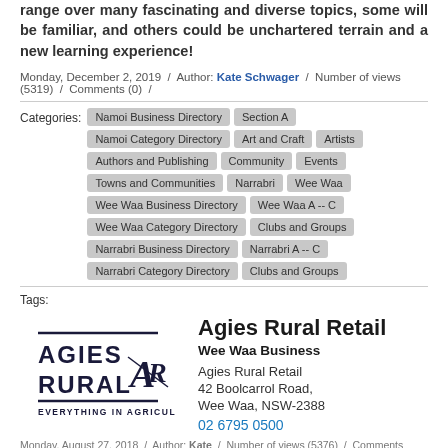range over many fascinating and diverse topics, some will be familiar, and others could be unchartered terrain and a new learning experience!
Monday, December 2, 2019 / Author: Kate Schwager / Number of views (5319) / Comments (0) /
Categories: Namoi Business Directory  Section A  Namoi Category Directory  Art and Craft  Artists  Authors and Publishing  Community  Events  Towns and Communities  Narrabri  Wee Waa  Wee Waa Business Directory  Wee Waa A -- C  Wee Waa Category Directory  Clubs and Groups  Narrabri Business Directory  Narrabri A -- C  Narrabri Category Directory  Clubs and Groups
Tags:
[Figure (logo): Agies Rural logo with text AGIES RURAL EVERYTHING IN AGRICULTURE and a stylized AR monogram]
Agies Rural Retail
Wee Waa Business
Agies Rural Retail
42 Boolcarrol Road,
Wee Waa, NSW-2388
02 6795 0500
Monday, August 27, 2018 / Author: Kate / Number of views (5376) / Comments